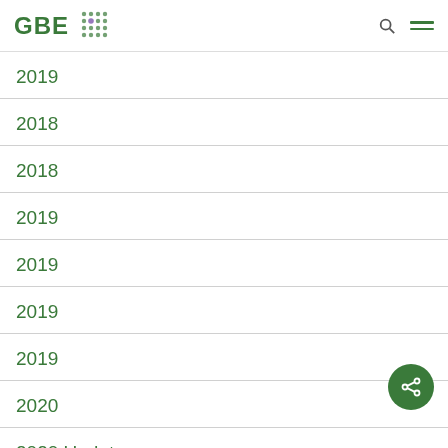GBE
2019
2018
2018
2019
2019
2019
2019
2020
2020 Updates
2021